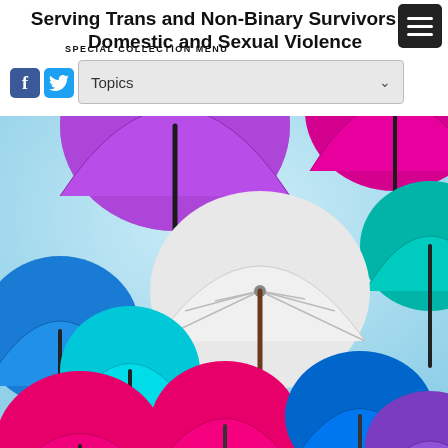Serving Trans and Non-Binary Survivors of Domestic and Sexual Violence
SPECIAL COLLECTION MENU
[Figure (illustration): Colorful floating umbrellas against a light blue sky]
Topics dropdown menu with Facebook and Twitter social icons